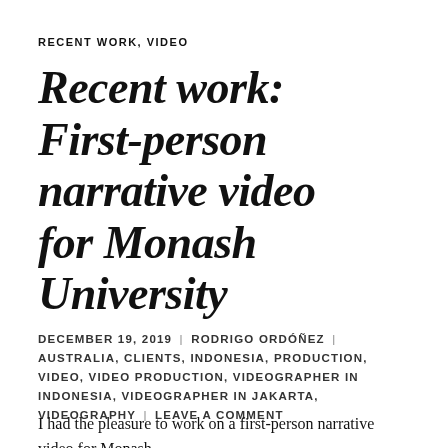RECENT WORK, VIDEO
Recent work: First-person narrative video for Monash University
DECEMBER 19, 2019 | RODRIGO ORDÓÑEZ | AUSTRALIA, CLIENTS, INDONESIA, PRODUCTION, VIDEO, VIDEO PRODUCTION, VIDEOGRAPHER IN INDONESIA, VIDEOGRAPHER IN JAKARTA, VIDEOGRAPHY | LEAVE A COMMENT
I had the pleasure to work on a first-person narrative video for Monash